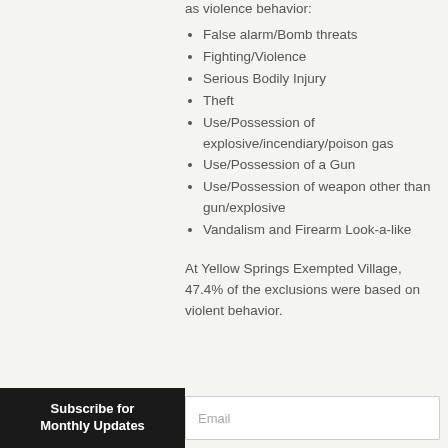as violence behavior:
False alarm/Bomb threats
Fighting/Violence
Serious Bodily Injury
Theft
Use/Possession of explosive/incendiary/poison gas
Use/Possession of a Gun
Use/Possession of weapon other than gun/explosive
Vandalism and Firearm Look-a-like
At Yellow Springs Exempted Village, 47.4% of the exclusions were based on violent behavior.
Subscribe for Monthly Updates
Email